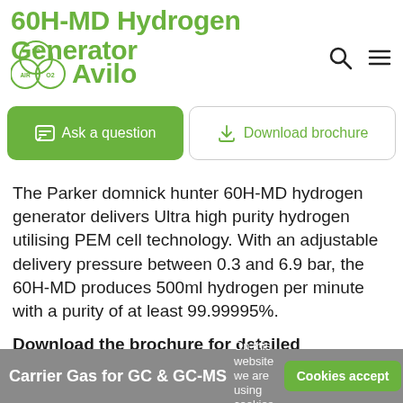60H-MD Hydrogen Generator
[Figure (logo): Avilo logo with gas molecule circles (N2, AIR, O2) and green Avilo text]
Ask a question
Download brochure
The Parker domnick hunter 60H-MD hydrogen generator delivers Ultra high purity hydrogen utilising PEM cell technology. With an adjustable delivery pressure between 0.3 and 6.9 bar, the 60H-MD produces 500ml hydrogen per minute with a purity of at least 99.99995%.
Download the brochure for detailed specifications of the 60H-MD hydrogen generator
Carrier Gas for GC & GC-MS
On this website we are using cookies.
Cookies accept